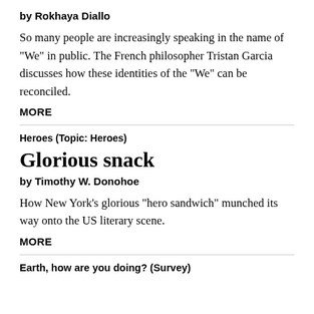by Rokhaya Diallo
So many people are increasingly speaking in the name of "We" in public. The French philosopher Tristan Garcia discusses how these identities of the "We" can be reconciled.
MORE
Heroes (Topic: Heroes)
Glorious snack
by Timothy W. Donohoe
How New York's glorious "hero sandwich" munched its way onto the US literary scene.
MORE
Earth, how are you doing? (Survey)